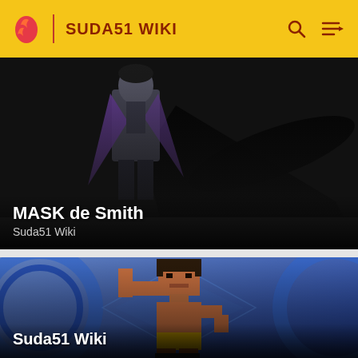SUDA51 WIKI
[Figure (screenshot): Dark background showing an animated character in a suit with purple cape, shadow silhouette visible. Card for MASK de Smith article on Suda51 Wiki.]
MASK de Smith
Suda51 Wiki
[Figure (screenshot): Pixel art character of a wrestler/fighter in yellow shorts standing on a blue decorative background with circular emblem. Labeled Suda51 Wiki.]
Suda51 Wiki